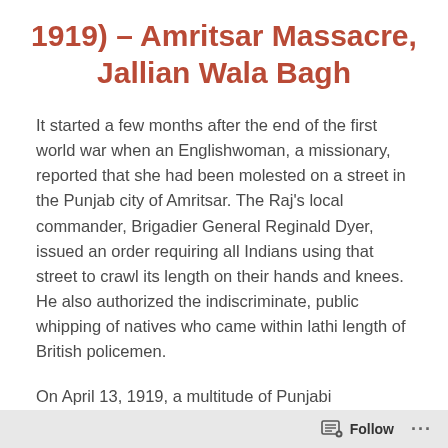1919) – Amritsar Massacre, Jallian Wala Bagh
It started a few months after the end of the first world war when an Englishwoman, a missionary, reported that she had been molested on a street in the Punjab city of Amritsar. The Raj's local commander, Brigadier General Reginald Dyer, issued an order requiring all Indians using that street to crawl its length on their hands and knees. He also authorized the indiscriminate, public whipping of natives who came within lathi length of British policemen.
On April 13, 1919, a multitude of Punjabi...
Follow